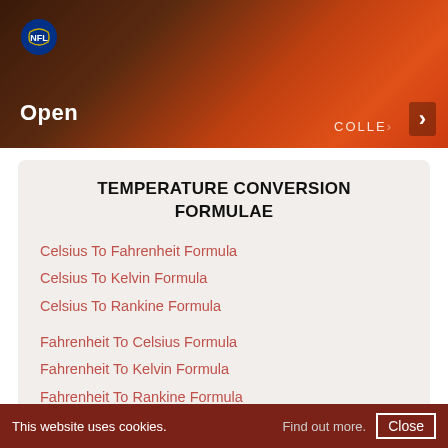[Figure (screenshot): NFL app banner with orange/dark background and 'Open' label with arrow]
TEMPERATURE CONVERSION FORMULAE
Celsius To Fahrenheit Formula
Celsius To Kelvin Formula
Celsius To Rankine Formula
Fahrenheit To Celsius Formula
Fahrenheit To Kelvin Formula
Fahrenheit To Rankine Formula
Kelvin To Celsius Formula
Kelvin To Fahrenheit Formula
Kelvin To Rankine Formula
Rankine To Celsius Formula
Rankine To Fahrenheit Formula
This website uses cookies. Find out more. Close